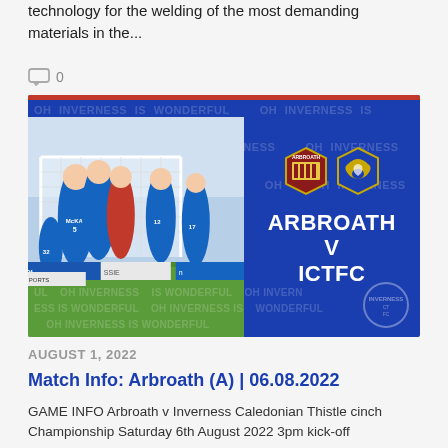technology for the welding of the most demanding materials in the...
0
[Figure (photo): Promotional image for Arbroath v ICTFC football match showing players celebrating in blue kits with club crests and bold text 'ARBROATH V ICTFC' on a blue background with watermark text 'OH INVERNESS IS WONDERFUL']
AUGUST 1, 2022
Match Info: Arbroath (A) | 06.08.2022
GAME INFO Arbroath v Inverness Caledonian Thistle cinch Championship Saturday 6th August 2022 3pm kick-off